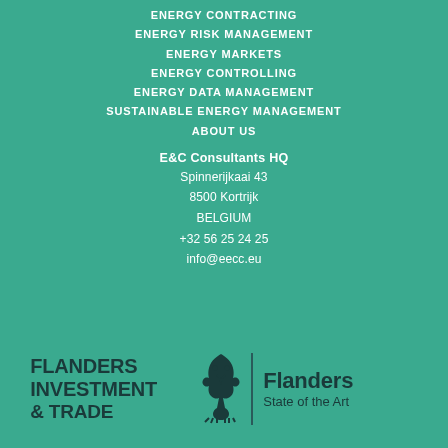ENERGY CONTRACTING
ENERGY RISK MANAGEMENT
ENERGY MARKETS
ENERGY CONTROLLING
ENERGY DATA MANAGEMENT
SUSTAINABLE ENERGY MANAGEMENT
ABOUT US
E&C Consultants HQ
Spinnerijkaai 43
8500 Kortrijk
BELGIUM
+32 56 25 24 25
info@eecc.eu
[Figure (logo): FLANDERS INVESTMENT & TRADE logo in dark teal on teal background]
[Figure (logo): Flanders State of the Art logo with lion emblem in dark teal on teal background]